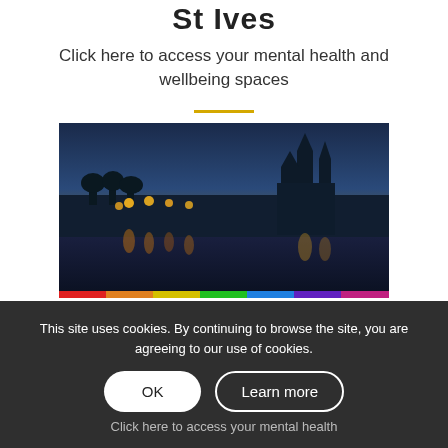St Ives
Click here to access your mental health and wellbeing spaces
[Figure (photo): Nighttime cityscape of Truro, Cornwall, showing the illuminated cathedral spires reflected in a river, with warm city lights and a blue dusk sky.]
This site uses cookies. By continuing to browse the site, you are agreeing to our use of cookies.
OK  Learn more
Click here to access your mental health